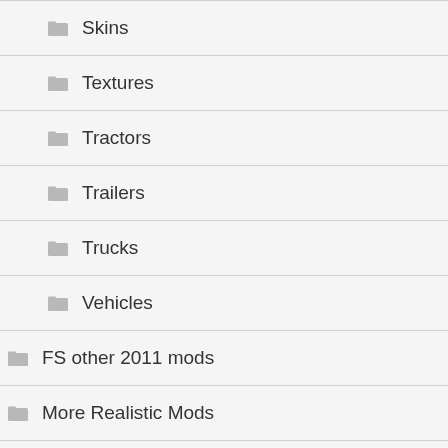Skins
Textures
Tractors
Trailers
Trucks
Vehicles
FS other 2011 mods
More Realistic Mods